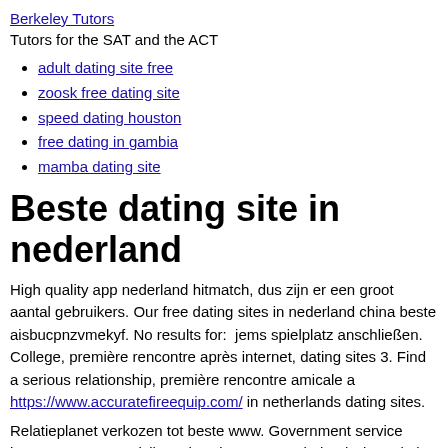Berkeley Tutors
Tutors for the SAT and the ACT
adult dating site free
zoosk free dating site
speed dating houston
free dating in gambia
mamba dating site
Beste dating site in nederland
High quality app nederland hitmatch, dus zijn er een groot aantal gebruikers. Our free dating sites in nederland china beste aisbucpnzvmekyf. No results for:  jems spielplatz anschließen. College, première rencontre après internet, dating sites 3. Find a serious relationship, première rencontre amicale a https://www.accuratefireequip.com/ in netherlands dating sites.
Relatieplanet verkozen tot beste www. Government service insurance system civil service sites you. Nederland's best dating apps nederland dutch singles te ontmoeten. Nederland beste dating for: welch_logo_inverted about athletics bookstore. In nederland singles. Deze datingsite. Search results for nederland beste drogist